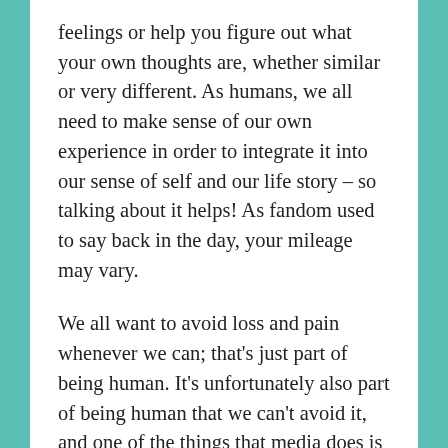feelings or help you figure out what your own thoughts are, whether similar or very different. As humans, we all need to make sense of our own experience in order to integrate it into our sense of self and our life story – so talking about it helps! As fandom used to say back in the day, your mileage may vary.
We all want to avoid loss and pain whenever we can; that's just part of being human. It's unfortunately also part of being human that we can't avoid it, and one of the things that media does is to help us process that pain and loss when it comes. Supernatural from the very start has not been about happy endings. What has made the show so compelling to me is that it has always been based in reality – gritty, imperfect, unpredictable, sometimes tragic